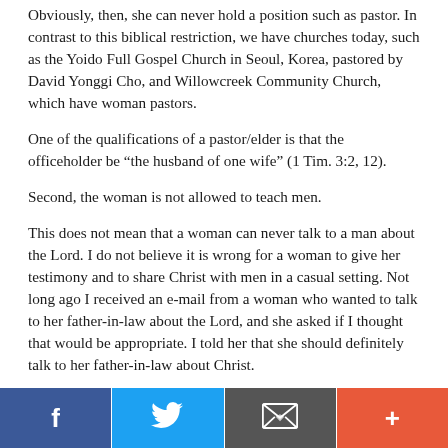Obviously, then, she can never hold a position such as pastor. In contrast to this biblical restriction, we have churches today, such as the Yoido Full Gospel Church in Seoul, Korea, pastored by David Yonggi Cho, and Willowcreek Community Church, which have woman pastors.
One of the qualifications of a pastor/elder is that the officeholder be “the husband of one wife” (1 Tim. 3:2, 12).
Second, the woman is not allowed to teach men.
This does not mean that a woman can never talk to a man about the Lord. I do not believe it is wrong for a woman to give her testimony and to share Christ with men in a casual setting. Not long ago I received an e-mail from a woman who wanted to talk to her father-in-law about the Lord, and she asked if I thought that would be appropriate. I told her that she should definitely talk to her father-in-law about Christ.
The women who arrived first at Christ’s empty tomb were told to go and tell the male disciples that Jesus had risen
[Figure (other): Social sharing bar with Facebook, Twitter, email, and plus buttons]